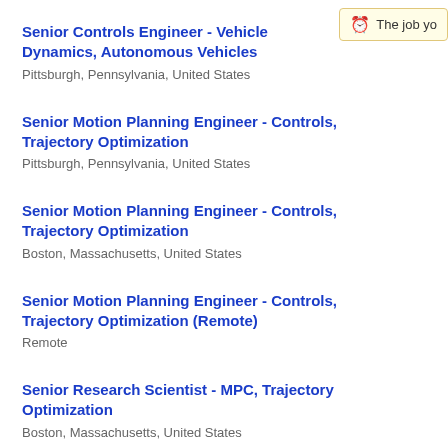Senior Controls Engineer - Vehicle Dynamics, Autonomous Vehicles
Pittsburgh, Pennsylvania, United States
Senior Motion Planning Engineer - Controls, Trajectory Optimization
Pittsburgh, Pennsylvania, United States
Senior Motion Planning Engineer - Controls, Trajectory Optimization
Boston, Massachusetts, United States
Senior Motion Planning Engineer - Controls, Trajectory Optimization (Remote)
Remote
Senior Research Scientist - MPC, Trajectory Optimization
Boston, Massachusetts, United States
Senior Research Scientist - MPC, Trajectory...